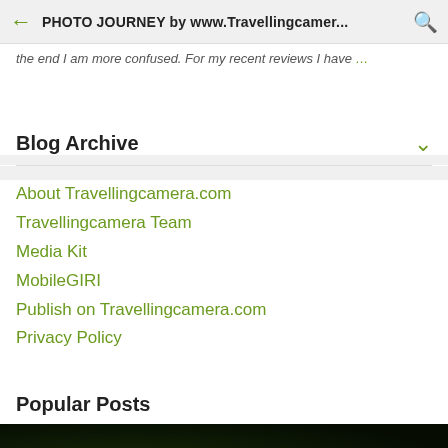PHOTO JOURNEY by www.Travellingcamer...
the end I am more confused. For my recent reviews I have...
Blog Archive
About Travellingcamera.com
Travellingcamera Team
Media Kit
MobileGIRI
Publish on Travellingcamera.com
Privacy Policy
Popular Posts
[Figure (photo): Dark green foliage photo strip at the bottom of the page]